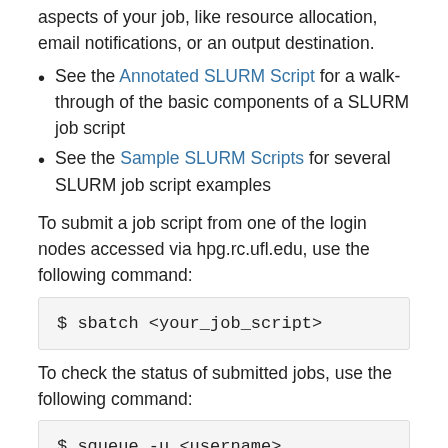aspects of your job, like resource allocation, email notifications, or an output destination.
See the Annotated SLURM Script for a walk-through of the basic components of a SLURM job script
See the Sample SLURM Scripts for several SLURM job script examples
To submit a job script from one of the login nodes accessed via hpg.rc.ufl.edu, use the following command:
$ sbatch <your_job_script>
To check the status of submitted jobs, use the following command:
$ squeue -u <username>
View SLURM_Commands for more useful SLURM commands.
Managing Cores and Memory